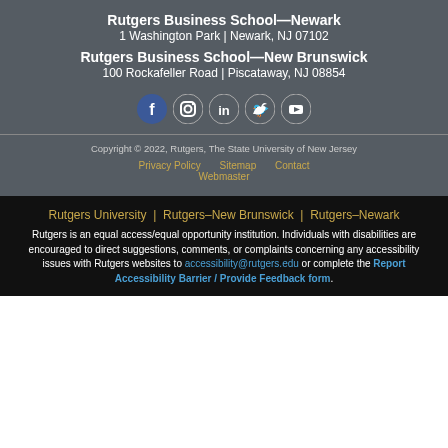Rutgers Business School—Newark
1 Washington Park | Newark, NJ 07102
Rutgers Business School—New Brunswick
100 Rockafeller Road | Piscataway, NJ 08854
[Figure (infographic): Five circular social media icons: Facebook, Instagram, LinkedIn, Twitter, YouTube]
Copyright © 2022, Rutgers, The State University of New Jersey
Privacy Policy   Sitemap   Contact
Webmaster
Rutgers University  |  Rutgers–New Brunswick  |  Rutgers–Newark
Rutgers is an equal access/equal opportunity institution. Individuals with disabilities are encouraged to direct suggestions, comments, or complaints concerning any accessibility issues with Rutgers websites to accessibility@rutgers.edu or complete the Report Accessibility Barrier / Provide Feedback form.